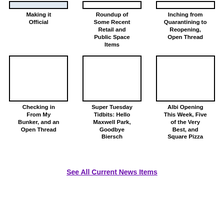[Figure (photo): Thumbnail image placeholder top-left]
Making it Official
[Figure (photo): Thumbnail image placeholder top-center]
Roundup of Some Recent Retail and Public Space Items
[Figure (photo): Thumbnail image placeholder top-right]
Inching from Quarantining to Reopening, Open Thread
[Figure (photo): Thumbnail image placeholder bottom-left]
Checking in From My Bunker, and an Open Thread
[Figure (photo): Thumbnail image placeholder bottom-center]
Super Tuesday Tidbits: Hello Maxwell Park, Goodbye Biersch
[Figure (photo): Thumbnail image placeholder bottom-right]
Albi Opening This Week, Five of the Very Best, and Square Pizza
See All Current News Items